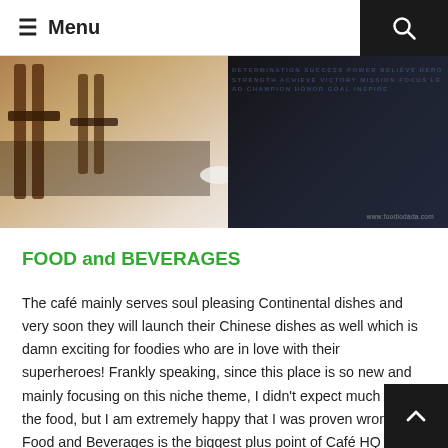≡ Menu
[Figure (photo): Interior of a café restaurant showing wooden chairs and tables with a dark typographic mural on the wall. Watermark reads www.foodiodada.com]
FOOD and BEVERAGES
The café mainly serves soul pleasing Continental dishes and very soon they will launch their Chinese dishes as well which is damn exciting for foodies who are in love with their superheroes! Frankly speaking, since this place is so new and mainly focusing on this niche theme, I didn't expect much from the food, but I am extremely happy that I was proven wrong! Food and Beverages is the biggest plus point of Café HQ and I can vouch for that. If you seriously want some awesome Continental food, head to Café HQ, you will be right to